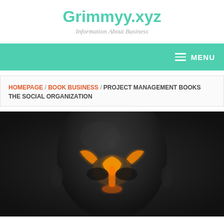Grimmyy.xyz
Information About Business
[Figure (screenshot): Navigation bar with teal/mint background color and hamburger menu icon with MENU label on the right]
HOMEPAGE / BOOK BUSINESS / PROJECT MANAGEMENT BOOKS THE SOCIAL ORGANIZATION
[Figure (photo): 3D rendered dark translucent human head showing glowing orange sinus anatomy inside the skull, front view, on dark background]